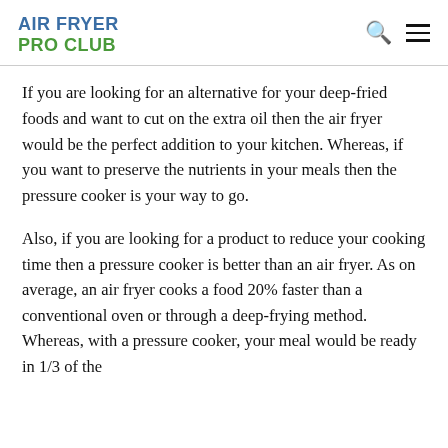AIR FRYER PRO CLUB
If you are looking for an alternative for your deep-fried foods and want to cut on the extra oil then the air fryer would be the perfect addition to your kitchen. Whereas, if you want to preserve the nutrients in your meals then the pressure cooker is your way to go.
Also, if you are looking for a product to reduce your cooking time then a pressure cooker is better than an air fryer. As on average, an air fryer cooks a food 20% faster than a conventional oven or through a deep-frying method. Whereas, with a pressure cooker, your meal would be ready in 1/3 of the